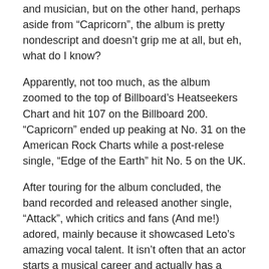and musician, but on the other hand, perhaps aside from “Capricorn”, the album is pretty nondescript and doesn’t grip me at all, but eh, what do I know?
Apparently, not too much, as the album zoomed to the top of Billboard’s Heatseekers Chart and hit 107 on the Billboard 200. “Capricorn” ended up peaking at No. 31 on the American Rock Charts while a post-relese single, “Edge of the Earth” hit No. 5 on the UK.
After touring for the album concluded, the band recorded and released another single, “Attack”, which critics and fans (And me!) adored, mainly because it showcased Leto’s amazing vocal talent. It isn’t often that an actor starts a musical career and actually has a passable voice, much less a good one.